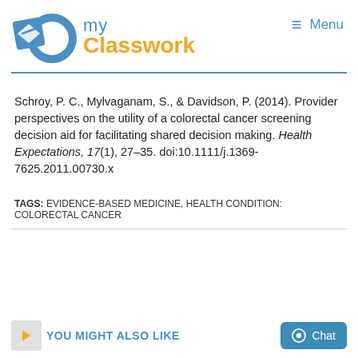[Figure (logo): Do my Classwork logo with blue 'DO' text and orange 'Classwork' text, with a blue diamond/rhombus icon]
≡  Menu
Schroy, P. C., Mylvaganam, S., & Davidson, P. (2014). Provider perspectives on the utility of a colorectal cancer screening decision aid for facilitating shared decision making. Health Expectations, 17(1), 27–35. doi:10.1111/j.1369-7625.2011.00730.x
TAGS: EVIDENCE-BASED MEDICINE, HEALTH CONDITION: COLORECTAL CANCER
YOU MIGHT ALSO LIKE
Chat